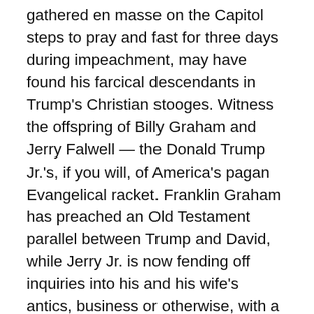gathered en masse on the Capitol steps to pray and fast for three days during impeachment, may have found his farcical descendants in Trump's Christian stooges. Witness the offspring of Billy Graham and Jerry Falwell — the Donald Trump Jr.'s, if you will, of America's pagan Evangelical racket. Franklin Graham has preached an Old Testament parallel between Trump and David, while Jerry Jr. is now fending off inquiries into his and his wife's antics, business or otherwise, with a pool boy they befriended at the Fontainebleau Hotel in Miami Beach. (For his part, Moon was eventually engulfed by repeated post-Watergate scandals, including a conviction for tax fraud and obstruction of justice that sent him to prison in 1982.) The rhetoric of Nixon's and Trump's mad-dog defenders can be interchangeable, too. There's more than a little of the degraded Lindsey Graham in the legendary Today